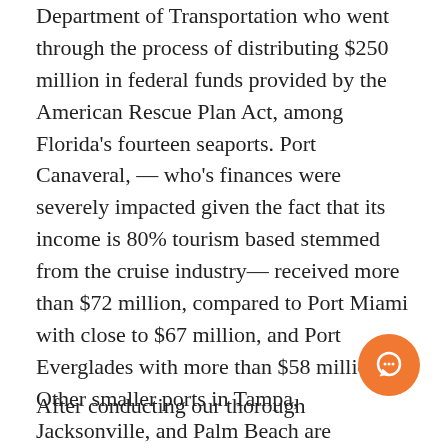Department of Transportation who went through the process of distributing $250 million in federal funds provided by the American Rescue Plan Act, among Florida's fourteen seaports. Port Canaveral, — who's finances were severely impacted given the fact that its income is 80% tourism based stemmed from the cruise industry— received more than $72 million, compared to Port Miami with close to $67 million, and Port Everglades with more than $58 million. Other smaller ports in Tampa, Jacksonville, and Palm Beach are responsible for 60% cruise industry annual traffic.
[Figure (other): Orange circular chat button with speech bubble icon]
After conducting our thorough...